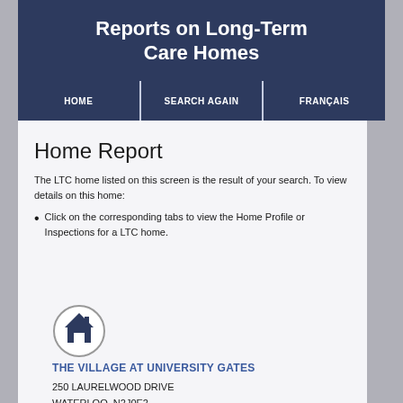Reports on Long-Term Care Homes
HOME | SEARCH AGAIN | FRANÇAIS
Home Report
The LTC home listed on this screen is the result of your search. To view details on this home:
Click on the corresponding tabs to view the Home Profile or Inspections for a LTC home.
[Figure (illustration): House icon inside a circular grey border]
THE VILLAGE AT UNIVERSITY GATES
250 LAURELWOOD DRIVE
WATERLOO, N2J0E2
Tel : (519) 904-0650